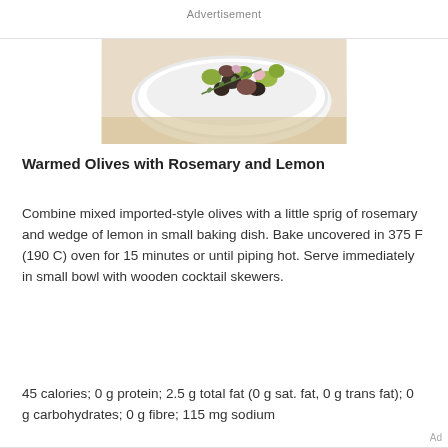Advertisement
[Figure (photo): A white bowl filled with mixed olives (green, black, and purple/brown) with rosemary sprigs, photographed from above on a light linen surface.]
Warmed Olives with Rosemary and Lemon
Combine mixed imported-style olives with a little sprig of rosemary and wedge of lemon in small baking dish. Bake uncovered in 375 F (190 C) oven for 15 minutes or until piping hot. Serve immediately in small bowl with wooden cocktail skewers.
45 calories; 0 g protein; 2.5 g total fat (0 g sat. fat, 0 g trans fat); 0 g carbohydrates; 0 g fibre; 115 mg sodium
Ad